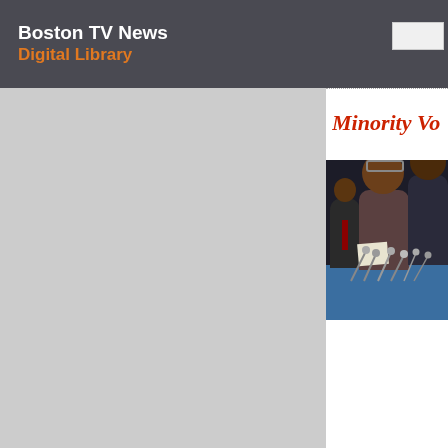Boston TV News Digital Library
Minority Vo
[Figure (photo): Press conference scene showing several people seated at a table with microphones, partially cropped on the right side of the page]